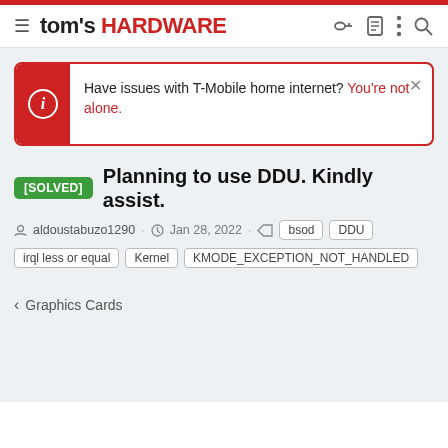tom's HARDWARE
Have issues with T-Mobile home internet? You're not alone.
[SOLVED] Planning to use DDU. Kindly assist.
aldoustabuzo1290 · Jan 28, 2022 · bsod DDU irql less or equal Kernel KMODE_EXCEPTION_NOT_HANDLED
< Graphics Cards